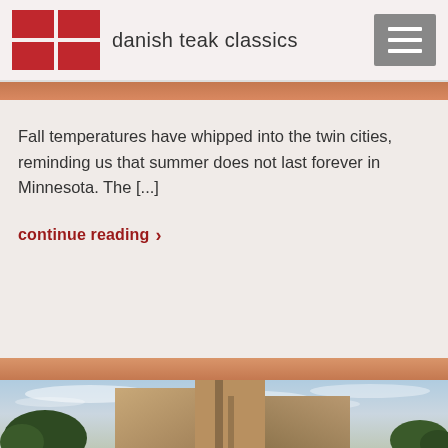danish teak classics
Fall temperatures have whipped into the twin cities, reminding us that summer does not last forever in Minnesota.  The [...]
continue reading ›
[Figure (photo): Exterior photograph of a modernist brick building with angular geometric forms against a partly cloudy sky, with trees visible in the background]